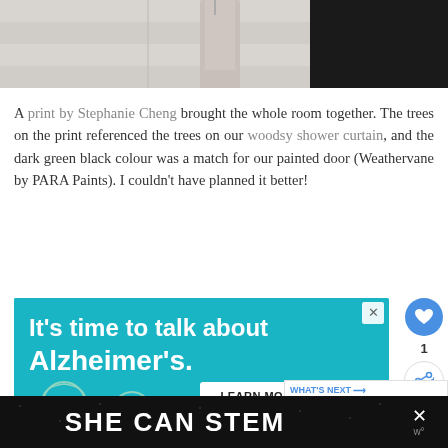[Figure (photo): Top portion of a bathroom photo showing towels and a dark door]
A print by Stephanie Cheng brought the whole room together. The trees on the print referenced the trees on our woodsy shower curtain, and the dark green black colour was a match for our painted door (Weathervane by PARA Paints). I couldn't have planned it better!
[Figure (infographic): Advertisement for Alzheimer's awareness: 'It's time to talk about Alzheimer's.' with LEARN MORE button and alz.org/ourstori URL, featuring illustrated elderly figures]
[Figure (infographic): What's Next panel showing 'A Cottage Bathroom...' with thumbnail image]
[Figure (infographic): Bottom dark advertisement banner with text 'SHE CAN STEM']